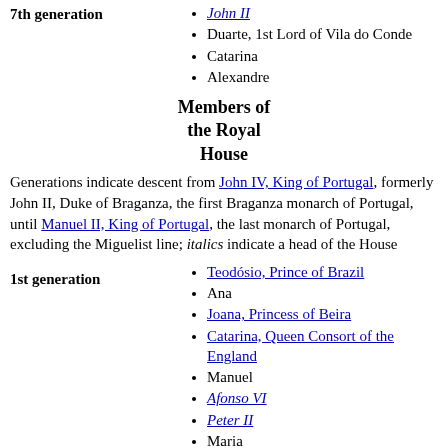John II
Duarte, 1st Lord of Vila do Conde
Catarina
Alexandre
Members of the Royal House
Generations indicate descent from John IV, King of Portugal, formerly John II, Duke of Braganza, the first Braganza monarch of Portugal, until Manuel II, King of Portugal, the last monarch of Portugal, excluding the Miguelist line; italics indicate a head of the House
Teodósio, Prince of Brazil
Ana
Joana, Princess of Beira
Catarina, Queen Consort of the England
Manuel
Afonso VI
Peter II
Maria
Isabel Luísa, Princess of Beira
João, Prince of Brazil